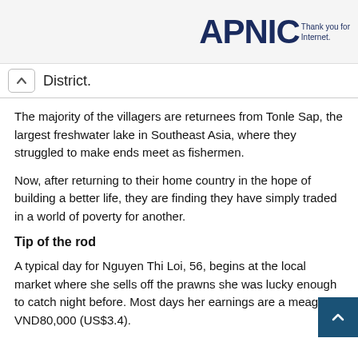APNIC — Thank you for the Internet.
District.
The majority of the villagers are returnees from Tonle Sap, the largest freshwater lake in Southeast Asia, where they struggled to make ends meet as fishermen.
Now, after returning to their home country in the hope of building a better life, they are finding they have simply traded in a world of poverty for another.
Tip of the rod
A typical day for Nguyen Thi Loi, 56, begins at the local market where she sells off the prawns she was lucky enough to catch night before. Most days her earnings are a meager VND80,000 (US$3.4).